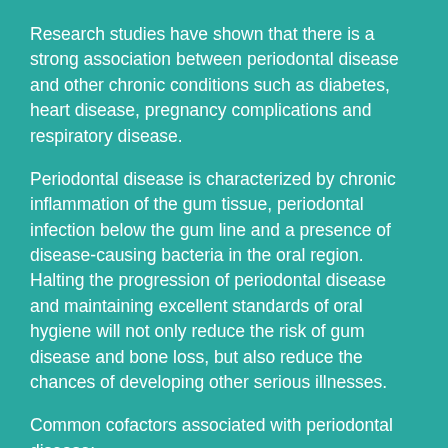Research studies have shown that there is a strong association between periodontal disease and other chronic conditions such as diabetes, heart disease, pregnancy complications and respiratory disease.
Periodontal disease is characterized by chronic inflammation of the gum tissue, periodontal infection below the gum line and a presence of disease-causing bacteria in the oral region.  Halting the progression of periodontal disease and maintaining excellent standards of oral hygiene will not only reduce the risk of gum disease and bone loss, but also reduce the chances of developing other serious illnesses.
Common cofactors associated with periodontal disease:
Diabetes
A research study has shown that individuals with pre-